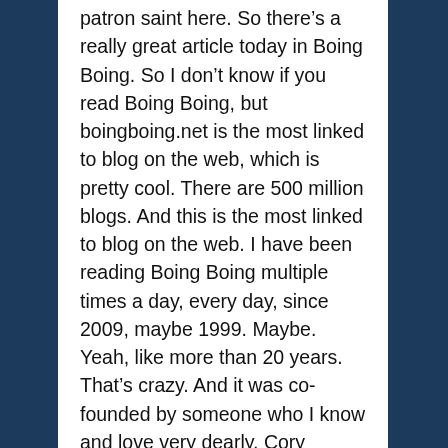patron saint here. So there's a really great article today in Boing Boing. So I don't know if you read Boing Boing, but boingboing.net is the most linked to blog on the web, which is pretty cool. There are 500 million blogs. And this is the most linked to blog on the web. I have been reading Boing Boing multiple times a day, every day, since 2009, maybe 1999. Maybe. Yeah, like more than 20 years. That's crazy. And it was co-founded by someone who I know and love very dearly, Cory Doctorow, who was my co-founder on a company called Opencola,